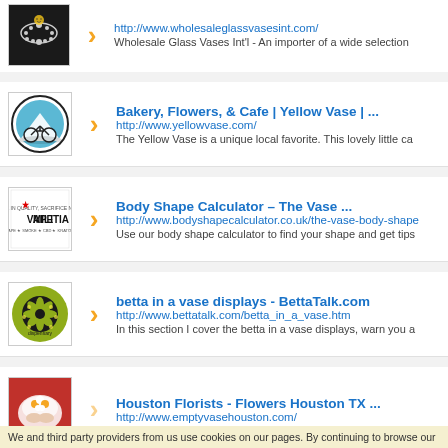Wholesale Glass Vases Int'l - An importer of a wide selection
Bakery, Flowers, & Cafe | Yellow Vase | ...
http://www.yellowvase.com/
The Yellow Vase is a unique local favorite. This lovely little ca
Body Shape Calculator – The Vase ...
http://www.bodyshapecalculator.co.uk/the-vase-body-shape
Use our body shape calculator to find your shape and get tips
betta in a vase displays - BettaTalk.com
http://www.bettatalk.com/betta_in_a_vase.htm
In this section I cover the betta in a vase displays, warn you a
Houston Florists - Flowers Houston TX ...
http://www.emptyvasehouston.com/
We and third party providers from us use cookies on our pages. By continuing to browse our